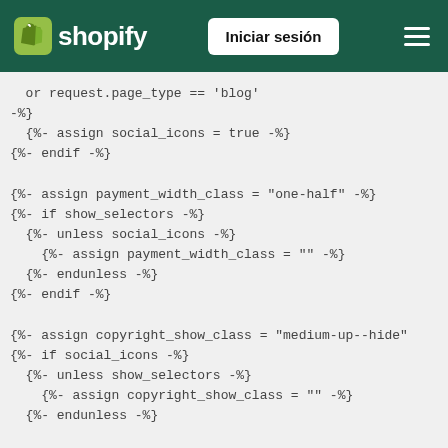shopify | Iniciar sesión
or request.page_type == 'blog'
-%}
  {%- assign social_icons = true -%}
{%- endif -%}

{%- assign payment_width_class = "one-half" -%}
{%- if show_selectors -%}
  {%- unless social_icons -%}
    {%- assign payment_width_class = "" -%}
  {%- endunless -%}
{%- endif -%}

{%- assign copyright_show_class = "medium-up--hide"
{%- if social_icons -%}
  {%- unless show_selectors -%}
    {%- assign copyright_show_class = "" -%}
  {%- endunless -%}